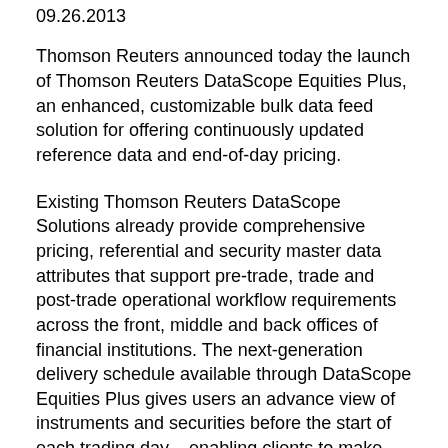09.26.2013
Thomson Reuters announced today the launch of Thomson Reuters DataScope Equities Plus, an enhanced, customizable bulk data feed solution for offering continuously updated reference data and end-of-day pricing.
Existing Thomson Reuters DataScope Solutions already provide comprehensive pricing, referential and security master data attributes that support pre-trade, trade and post-trade operational workflow requirements across the front, middle and back offices of financial institutions. The next-generation delivery schedule available through DataScope Equities Plus gives users an advance view of instruments and securities before the start of each trading day – enabling clients to make decisions based on the most up-to-date and reliable information available.